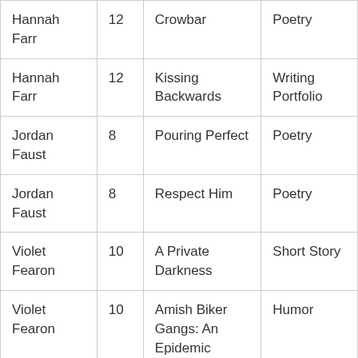| Hannah Farr | 12 | Crowbar | Poetry |
| Hannah Farr | 12 | Kissing Backwards | Writing Portfolio |
| Jordan Faust | 8 | Pouring Perfect | Poetry |
| Jordan Faust | 8 | Respect Him | Poetry |
| Violet Fearon | 10 | A Private Darkness | Short Story |
| Violet Fearon | 10 | Amish Biker Gangs: An Epidemic Among America's Youth | Humor |